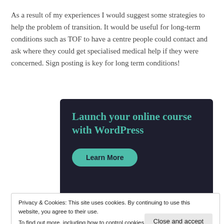As a result of my experiences I would suggest some strategies to help the problem of transition. It would be useful for long-term conditions such as TOF to have a centre people could contact and ask where they could get specialised medical help if they were concerned. Sign posting is key for long term conditions!
[Figure (infographic): Dark navy advertisement banner reading 'Launch your online course with WordPress' with a teal 'Learn More' button]
Privacy & Cookies: This site uses cookies. By continuing to use this website, you agree to their use.
To find out more, including how to control cookies, see here: Cookie Policy
Close and accept